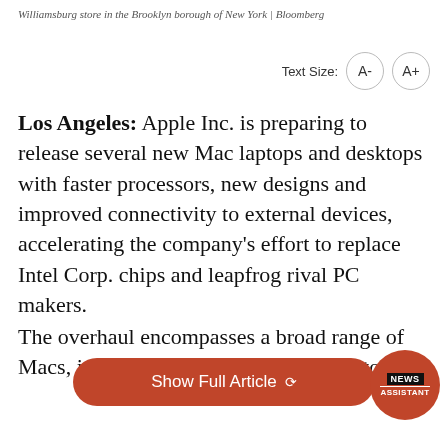Williamsburg store in the Brooklyn borough of New York | Bloomberg
Text Size: A- A+
Los Angeles: Apple Inc. is preparing to release several new Mac laptops and desktops with faster processors, new designs and improved connectivity to external devices, accelerating the company's effort to replace Intel Corp. chips and leapfrog rival PC makers.
The overhaul encompasses a broad range of Macs, including Apple's higher-end laptop, t…
Show Full Article